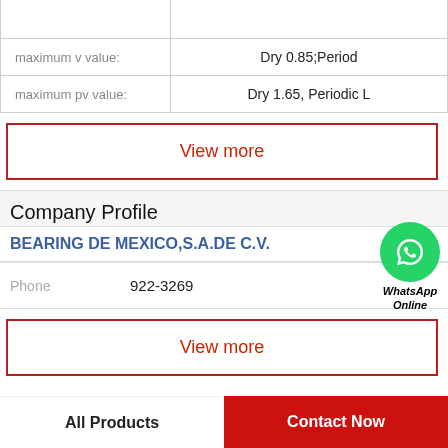| maximum v value: | Dry 0.85;Period |
| maximum pv value: | Dry 1.65, Periodic L |
View more
Company Profile
BEARING DE MEXICO,S.A.DE C.V.
Phone   922-3269
View more
All Products
Contact Now